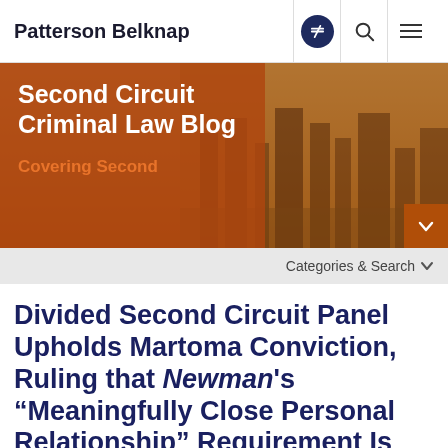Patterson Belknap
[Figure (illustration): Second Circuit Criminal Law Blog banner with orange overlay and city skyline background. Text reads 'Second Circuit Criminal Law Blog' and 'Covering Second']
Categories & Search
Divided Second Circuit Panel Upholds Martoma Conviction, Ruling that Newman's “Meaningfully Close Personal Relationship” Requirement Is No Longer Good Law After Salman